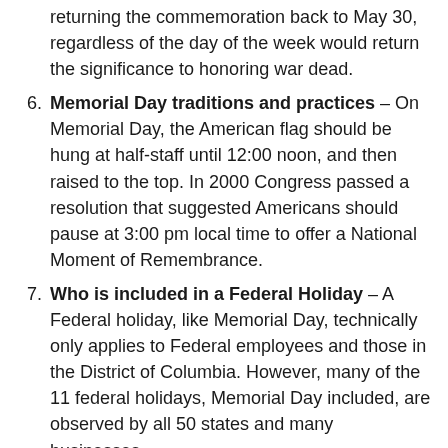returning the commemoration back to May 30, regardless of the day of the week would return the significance to honoring war dead.
Memorial Day traditions and practices – On Memorial Day, the American flag should be hung at half-staff until 12:00 noon, and then raised to the top. In 2000 Congress passed a resolution that suggested Americans should pause at 3:00 pm local time to offer a National Moment of Remembrance.
Who is included in a Federal Holiday – A Federal holiday, like Memorial Day, technically only applies to Federal employees and those in the District of Columbia. However, many of the 11 federal holidays, Memorial Day included, are observed by all 50 states and many businesses.